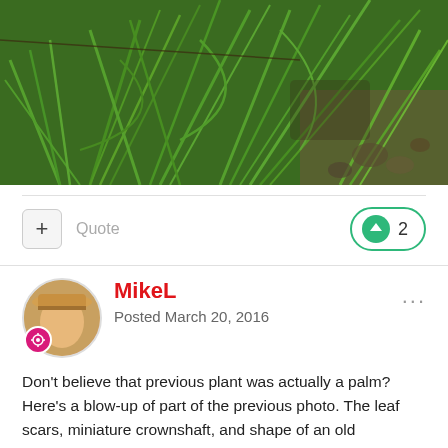[Figure (photo): Close-up photo of a small palm plant with narrow elongated leaves growing on a rocky/earthy slope. The plant has multiple fronds spreading outward. Background shows rocks and other vegetation.]
Quote
2
MikeL
Posted March 20, 2016
Don't believe that previous plant was actually a palm? Here's a blow-up of part of the previous photo. The leaf scars, miniature crownshaft, and shape of an old inflorescence all point to this being a palm. Another reason I think this might be Pinanga tenella var. tenella is the angle of the dried up